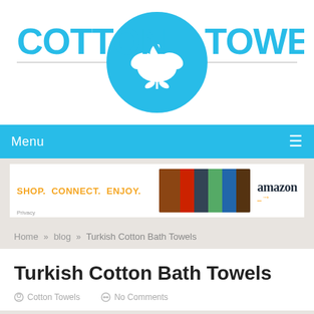[Figure (logo): Cotton Towels logo: blue text 'COTTON TOWELS' with a blue circular cotton boll icon in the center, horizontal lines flanking the circle]
[Figure (screenshot): Navigation menu bar in sky blue with 'Menu' text on left and hamburger icon on right]
[Figure (screenshot): Amazon advertisement banner: 'SHOP. CONNECT. ENJOY.' in orange text with product images and Amazon logo]
Home » blog » Turkish Cotton Bath Towels
Turkish Cotton Bath Towels
Cotton Towels    No Comments